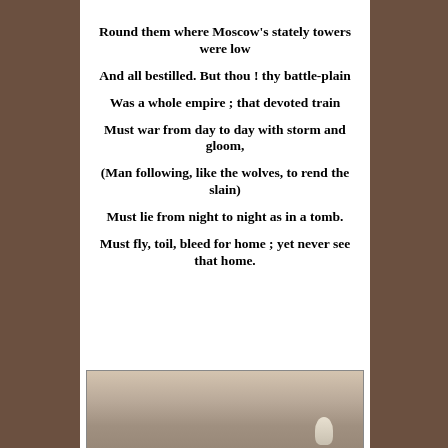Round them where Moscow’s stately towers were low
And all bestilled. But thou ! thy battle-plain
Was a whole empire ; that devoted train
Must war from day to day with storm and gloom,
(Man following, like the wolves, to rend the slain)
Must lie from night to night as in a tomb.
Must fly, toil, bleed for home ; yet never see that home.
[Figure (illustration): A misty landscape illustration, possibly depicting a battlefield or wintry plain, with a small figure visible on the right side.]